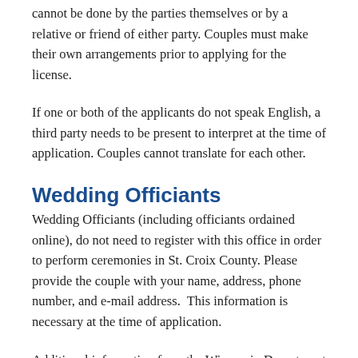cannot be done by the parties themselves or by a relative or friend of either party. Couples must make their own arrangements prior to applying for the license.
If one or both of the applicants do not speak English, a third party needs to be present to interpret at the time of application. Couples cannot translate for each other.
Wedding Officiants
Wedding Officiants (including officiants ordained online), do not need to register with this office in order to perform ceremonies in St. Croix County. Please provide the couple with your name, address, phone number, and e-mail address.  This information is necessary at the time of application.
Additional information from the Wisconsin Department of Health Services for Marriage